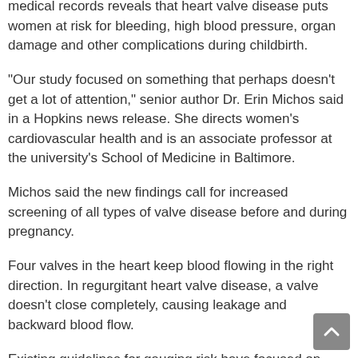medical records reveals that heart valve disease puts women at risk for bleeding, high blood pressure, organ damage and other complications during childbirth.
"Our study focused on something that perhaps doesn't get a lot of attention," senior author Dr. Erin Michos said in a Hopkins news release. She directs women's cardiovascular health and is an associate professor at the university's School of Medicine in Baltimore.
Michos said the new findings call for increased screening of all types of valve disease before and during pregnancy.
Four valves in the heart keep blood flowing in the right direction. In regurgitant heart valve disease, a valve doesn't close completely, causing leakage and backward blood flow.
Existing guidelines for gauging risk have focused on narrowed valves, which can reduce blood flow and strain the heart.